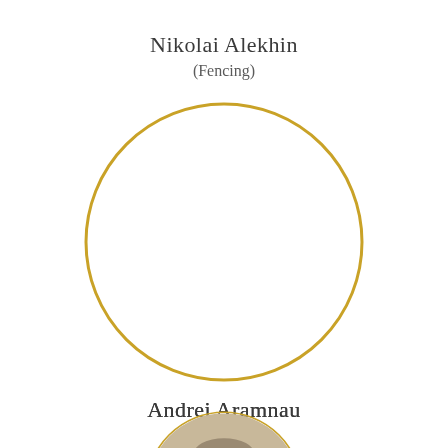Nikolai Alekhin
(Fencing)
[Figure (illustration): Empty circular portrait placeholder with gold border for an athlete profile]
Andrei Aramnau
(Weightlifting)
[Figure (photo): Partial circular portrait photo of an athlete with gold border, cropped at bottom of page]